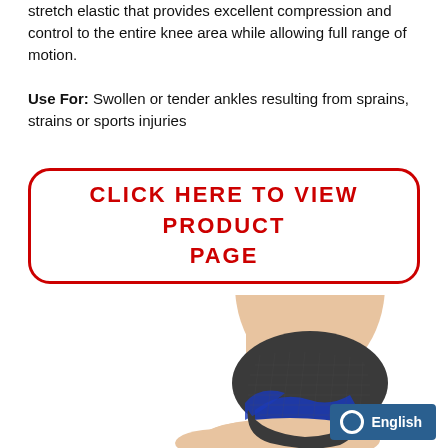stretch elastic that provides excellent compression and control to the entire knee area while allowing full range of motion.
Use For: Swollen or tender ankles resulting from sprains, strains or sports injuries
CLICK HERE TO VIEW PRODUCT PAGE
[Figure (photo): Photo of a foot and lower leg wearing a dark grey and blue compression ankle brace/sleeve, shown from the side against a white background.]
English